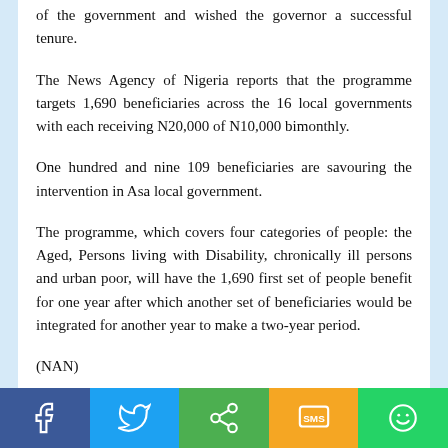of the government and wished the governor a successful tenure.
The News Agency of Nigeria reports that the programme targets 1,690 beneficiaries across the 16 local governments with each receiving N20,000 of N10,000 bimonthly.
One hundred and nine 109 beneficiaries are savouring the intervention in Asa local government.
The programme, which covers four categories of people: the Aged, Persons living with Disability, chronically ill persons and urban poor, will have the 1,690 first set of people benefit for one year after which another set of beneficiaries would be integrated for another year to make a two-year period.
(NAN)